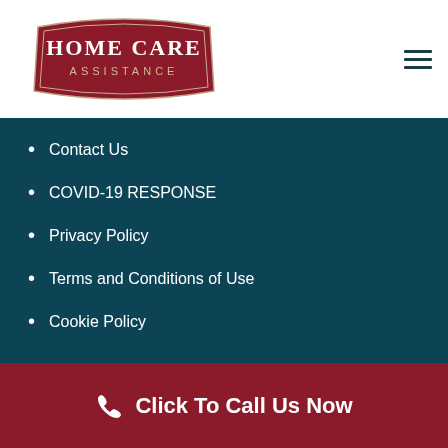[Figure (logo): Home Care Assistance logo — dark red pentagon/badge shape with white text]
Contact Us
COVID-19 RESPONSE
Privacy Policy
Terms and Conditions of Use
Cookie Policy
[Figure (screenshot): Map showing street layout with Thai Table restaurant marker]
Click To Call Us Now